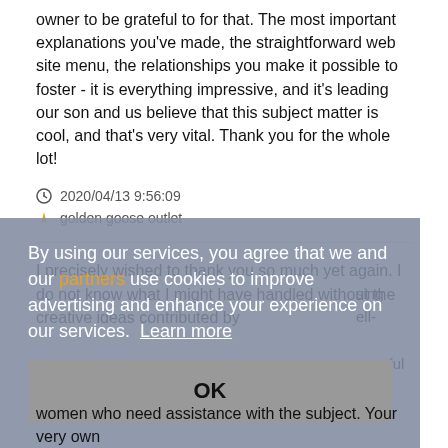owner to be grateful to for that. The most important explanations you've made, the straightforward web site menu, the relationships you make it possible to foster - it is everything impressive, and it's leading our son and us believe that this subject matter is cool, and that's very vital. Thank you for the whole lot!
2020/04/13 9:56:09
golden goose outlet
I precisely wished to thank you so much yet again. I do not know what I might have handled without the creative ideas contributed by
By using our services, you agree that we and our partners use cookies to improve advertising and enhance your experience on our services. Learn more
OK
women who need assistance with the subject. Your very own